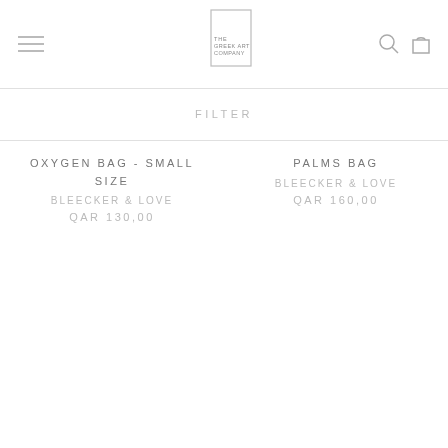THE GREEK ART COMPANY
FILTER
OXYGEN BAG - SMALL SIZE
BLEECKER & LOVE
QAR 130,00
PALMS BAG
BLEECKER & LOVE
QAR 160,00